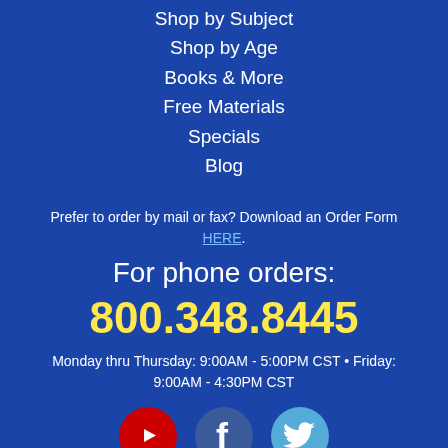Shop by Subject
Shop by Age
Books & More
Free Materials
Specials
Blog
Prefer to order by mail or fax? Download an Order Form HERE.
For phone orders:
800.348.8445
Monday thru Thursday: 9:00AM - 5:00PM CST • Friday: 9:00AM - 4:30PM CST
[Figure (other): Social media icons: YouTube (red circle with play button), Facebook (blue circle with f logo), Twitter (light blue circle with bird logo)]